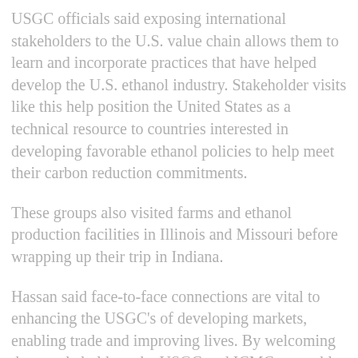USGC officials said exposing international stakeholders to the U.S. value chain allows them to learn and incorporate practices that have helped develop the U.S. ethanol industry. Stakeholder visits like this help position the United States as a technical resource to countries interested in developing favorable ethanol policies to help meet their carbon reduction commitments.
These groups also visited farms and ethanol production facilities in Illinois and Missouri before wrapping up their trip in Indiana.
Hassan said face-to-face connections are vital to enhancing the USGC's of developing markets, enabling trade and improving lives. By welcoming these stakeholders, the USGC and ICMC were able to showcase the high-quality commodities they represent and the